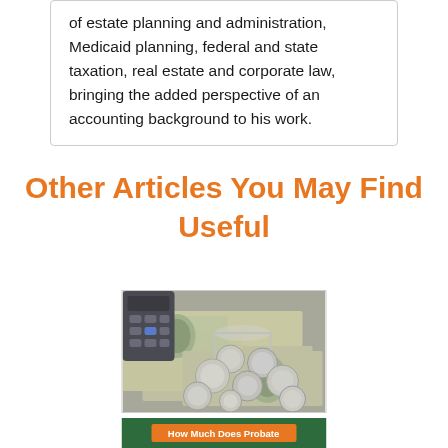of estate planning and administration, Medicaid planning, federal and state taxation, real estate and corporate law, bringing the added perspective of an accounting background to his work.
Other Articles You May Find Useful
[Figure (photo): Photo of coins spilled from a jar onto US dollar bills with a calculator in the background]
[Figure (photo): Dark green banner with orange button reading 'How Much Does Probate']